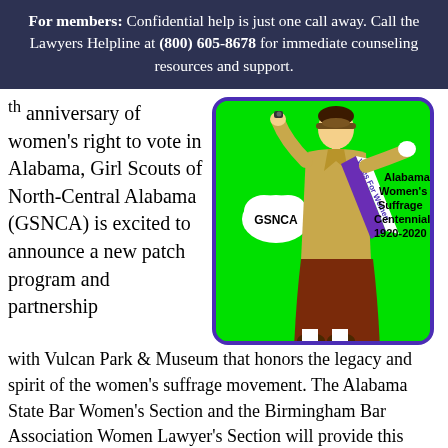For members: Confidential help is just one call away. Call the Lawyers Helpline at (800) 605-8678 for immediate counseling resources and support.
th anniversary of women's right to vote in Alabama, Girl Scouts of North-Central Alabama (GSNCA) is excited to announce a new patch program and partnership with Vulcan Park & Museum that honors the legacy and spirit of the women's suffrage movement. The Alabama State Bar Women's Section and the Birmingham Bar Association Women Lawyer's Section will provide this patch program to girl
[Figure (illustration): Alabama Women's Suffrage Centennial 1920-2020 patch illustration with GSNCA branding. Shows a Girl Scout figure wearing a 'Votes For Women' sash on a bright green background with a purple border.]